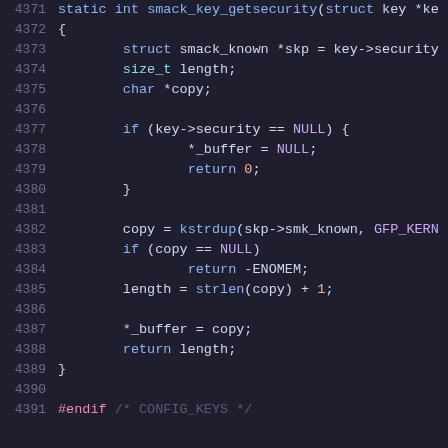[Figure (screenshot): Source code listing showing lines 4371-4391 of a C file implementing smack_key_getsecurity function, with syntax highlighting on a dark background. The code shows a static int function that retrieves security key information, handling NULL security cases and returning a copy of smk_known string.]